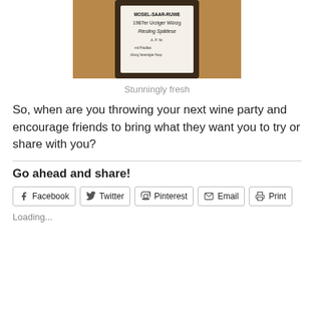[Figure (photo): A wine bottle label showing 'MOSEL-SAAR-RUWER 1987er Urziger Würzgarten Riesling Spätlese' with text about Prädikat and Vereinigte Hospitien]
Stunningly fresh
So, when are you throwing your next wine party and encourage friends to bring what they want you to try or share with you?
Go ahead and share!
Facebook  Twitter  Pinterest  Email  Print
Loading...